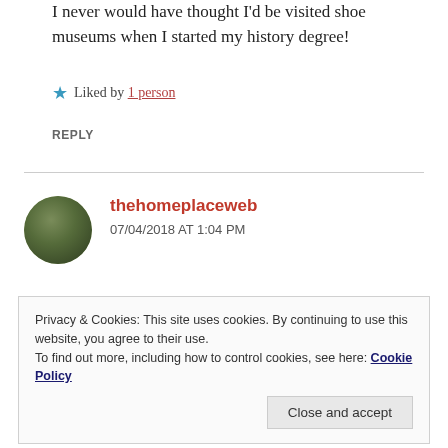I never would have thought I'd be visited shoe museums when I started my history degree!
★ Liked by 1 person
REPLY
thehomeplaceweb
07/04/2018 AT 1:04 PM
Privacy & Cookies: This site uses cookies. By continuing to use this website, you agree to their use.
To find out more, including how to control cookies, see here: Cookie Policy
Close and accept